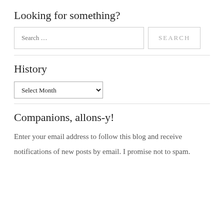Looking for something?
Search …
History
Select Month
Companions, allons-y!
Enter your email address to follow this blog and receive notifications of new posts by email. I promise not to spam.